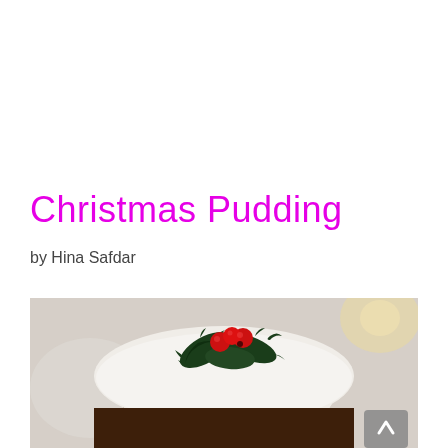Christmas Pudding
by Hina Safdar
[Figure (photo): A Christmas pudding with white icing drizzled over it, topped with holly leaves and bright red berries, on a blurred light background.]